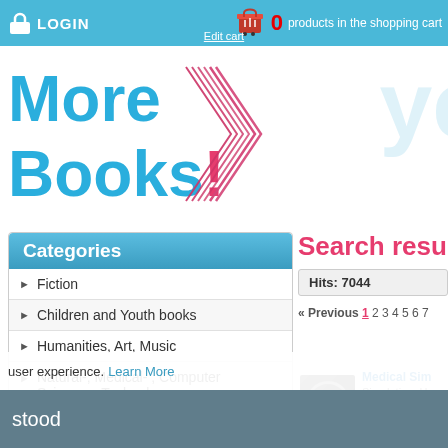LOGIN | 0 products in the shopping cart | Edit cart
[Figure (logo): MoreBooks! logo with blue text and pink/red chevron, plus 'i want MoreBooks' watermark text]
Categories
Fiction
Children and Youth books
Humanities, Art, Music
Natural-, Medical- , Computer Sciences, Technology
Social sciences, law, economics
School and learning
Specialized book
Travel
Councellor
Search results
Hits: 7044
« Previous 1 2 3 4 5 6 7
Medical Sim...
Simulation, Ho...
user experience. Learn More
stood